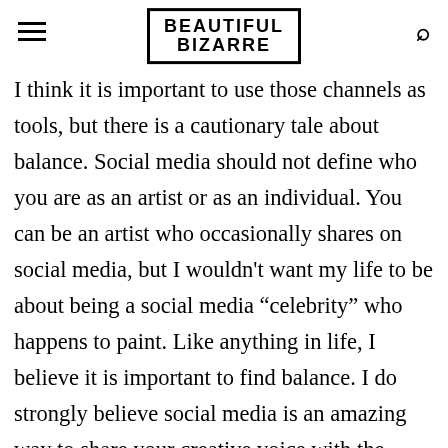BEAUTIFUL BIZARRE
I think it is important to use those channels as tools, but there is a cautionary tale about balance. Social media should not define who you are as an artist or as an individual. You can be an artist who occasionally shares on social media, but I wouldn't want my life to be about being a social media “celebrity” who happens to paint. Like anything in life, I believe it is important to find balance. I do strongly believe social media is an amazing way to share your creative voice with the world. I obviously understand the value of digital vehicles when it